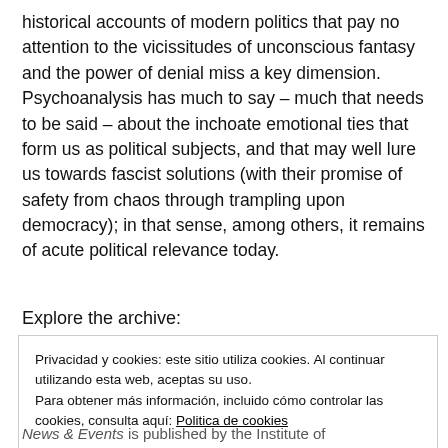historical accounts of modern politics that pay no attention to the vicissitudes of unconscious fantasy and the power of denial miss a key dimension. Psychoanalysis has much to say – much that needs to be said – about the inchoate emotional ties that form us as political subjects, and that may well lure us towards fascist solutions (with their promise of safety from chaos through trampling upon democracy); in that sense, among others, it remains of acute political relevance today.
Explore the archive:
Privacidad y cookies: este sitio utiliza cookies. Al continuar utilizando esta web, aceptas su uso.
Para obtener más información, incluido cómo controlar las cookies, consulta aquí: Politica de cookies
Cerrar y aceptar
News & Events is published by the Institute of